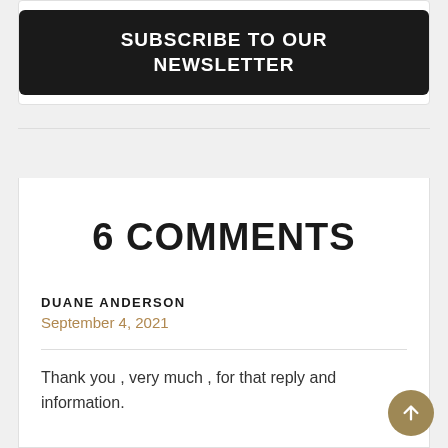[Figure (other): Dark button with text SUBSCRIBE TO OUR NEWSLETTER inside a white card with border]
6 COMMENTS
DUANE ANDERSON
September 4, 2021
Thank you , very much , for that reply and information.